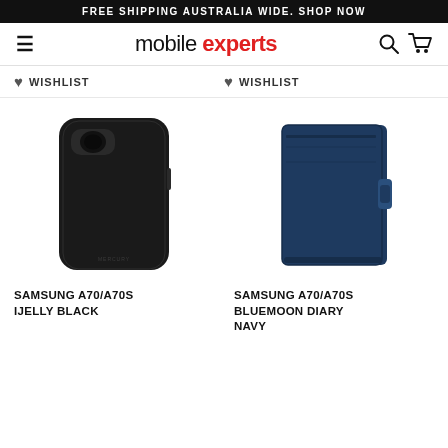FREE SHIPPING AUSTRALIA WIDE. SHOP NOW
[Figure (logo): Mobile Experts logo with hamburger menu, search and cart icons]
WISHLIST
WISHLIST
[Figure (photo): Samsung A70/A70S iJelly Black phone case - glossy black slim case]
[Figure (photo): Samsung A70/A70S Bluemoon Diary Navy - navy blue wallet/diary case]
SAMSUNG A70/A70S IJELLY BLACK
SAMSUNG A70/A70S BLUEMOON DIARY NAVY